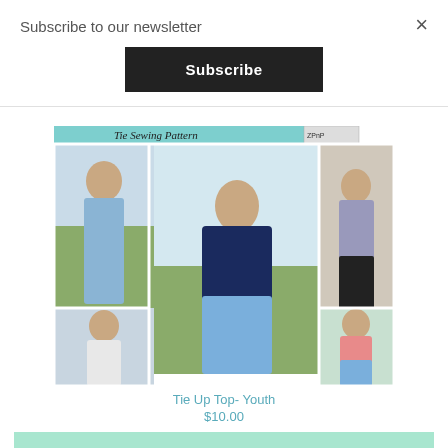Subscribe to our newsletter
×
Subscribe
[Figure (photo): Collage of young girls wearing tie-up tops in various styles and colors — blue crop top with shorts, navy floral top, plaid long-sleeve, white long-sleeve, and pink gingham top]
Tie Up Top- Youth
$10.00
Tie Up Top-Bundle